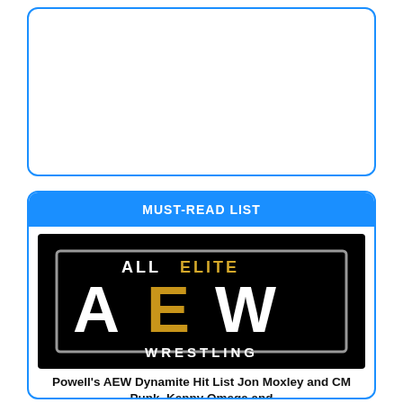[Figure (other): Empty white box with blue rounded border]
MUST-READ LIST
[Figure (logo): All Elite Wrestling (AEW) logo on black background — large stylized letters AEW in white with gold/yellow E, text ALL ELITE above and WRESTLING below in white, framed by a grey rectangle border]
Powell's AEW Dynamite Hit List Jon Moxley and CM Punk, Kenny Omega and